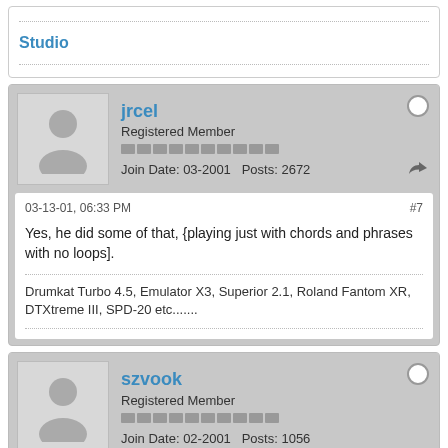Studio
jrcel
Registered Member
Join Date: 03-2001   Posts: 2672
03-13-01, 06:33 PM   #7
Yes, he did some of that, {playing just with chords and phrases with no loops].
Drumkat Turbo 4.5, Emulator X3, Superior 2.1, Roland Fantom XR, DTXtreme III, SPD-20 etc.......
szvook
Registered Member
Join Date: 02-2001   Posts: 1056